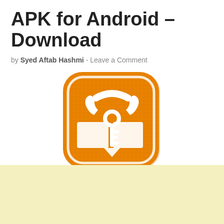APK for Android – Download
by Syed Aftab Hashmi  -  Leave a Comment
[Figure (logo): Orange rounded-square app icon featuring a white telephone handset overlaid with a key and an open book, with a speech bubble at the bottom — app logo for a secure contacts/phone book application]